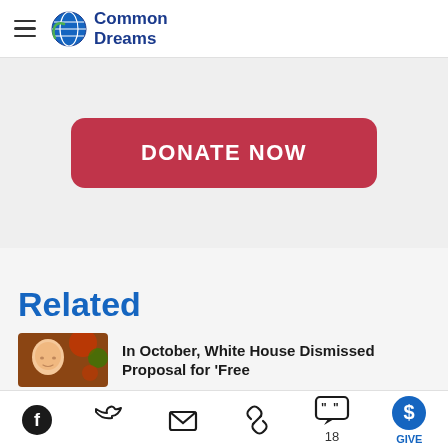Common Dreams
[Figure (other): DONATE NOW button — red rounded rectangle]
Related
[Figure (photo): Thumbnail photo of a bald person with Christmas decorations in background]
In October, White House Dismissed Proposal for 'Free
Facebook, Twitter, Email, Link, 18 comments, GIVE